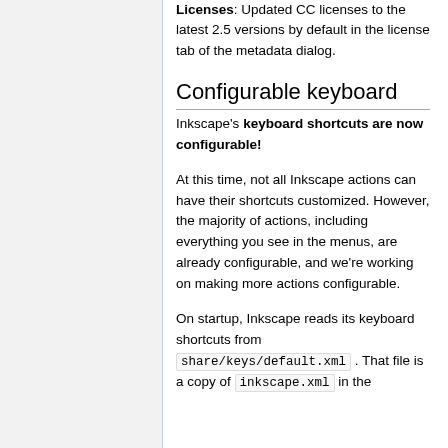Licenses: Updated CC licenses to the latest 2.5 versions by default in the license tab of the metadata dialog.
Configurable keyboard
Inkscape's keyboard shortcuts are now configurable!
At this time, not all Inkscape actions can have their shortcuts customized. However, the majority of actions, including everything you see in the menus, are already configurable, and we're working on making more actions configurable.
On startup, Inkscape reads its keyboard shortcuts from share/keys/default.xml . That file is a copy of inkscape.xml in the